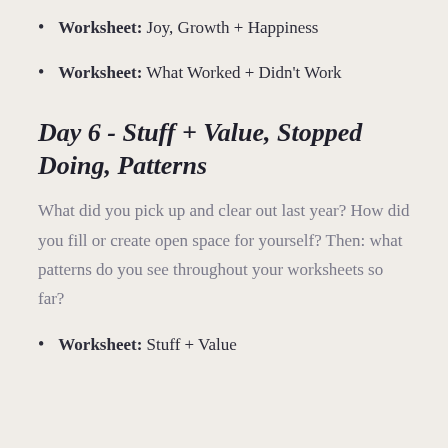Worksheet: Joy, Growth + Happiness
Worksheet: What Worked + Didn't Work
Day 6 - Stuff + Value, Stopped Doing, Patterns
What did you pick up and clear out last year? How did you fill or create open space for yourself? Then: what patterns do you see throughout your worksheets so far?
Worksheet: Stuff + Value